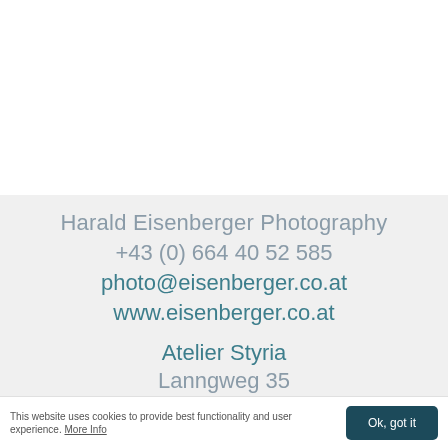Harald Eisenberger Photography
+43 (0) 664 40 52 585
photo@eisenberger.co.at
www.eisenberger.co.at
Atelier Styria
Lanngweg 35
8010 Graz/Kainbach
Austria
This website uses cookies to provide best functionality and user experience. More Info
Ok, got it